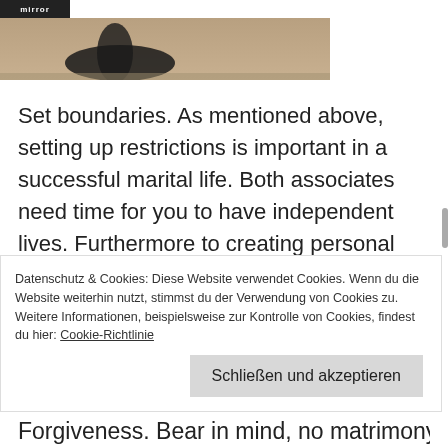mirror
[Figure (photo): Partial photo showing what appears to be shoes/feet on a sandy or earthen background, cropped at the top of the page.]
Set boundaries. As mentioned above, setting up restrictions is important in a successful marital life. Both associates need time for you to have independent lives. Furthermore to creating personal limitations, a couple should keep in touch with every single other's relatives and buddies. Trust is essential in a healthy relationship and it requires time to build
Datenschutz & Cookies: Diese Website verwendet Cookies. Wenn du die Website weiterhin nutzt, stimmst du der Verwendung von Cookies zu. Weitere Informationen, beispielsweise zur Kontrolle von Cookies, findest du hier: Cookie-Richtlinie
Schließen und akzeptieren
Forgiveness. Bear in mind, no matrimony is perfect.